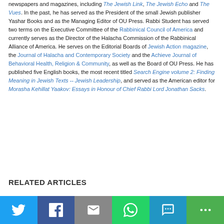newspapers and magazines, including The Jewish Link, The Jewish Echo and The Vues. In the past, he has served as the President of the small Jewish publisher Yashar Books and as the Managing Editor of OU Press. Rabbi Student has served two terms on the Executive Committee of the Rabbinical Council of America and currently serves as the Director of the Halacha Commission of the Rabbinical Alliance of America. He serves on the Editorial Boards of Jewish Action magazine, the Journal of Halacha and Contemporary Society and the Achieve Journal of Behavioral Health, Religion & Community, as well as the Board of OU Press. He has published five English books, the most recent titled Search Engine volume 2: Finding Meaning in Jewish Texts -- Jewish Leadership, and served as the American editor for Morasha Kehillat Yaakov: Essays in Honour of Chief Rabbi Lord Jonathan Sacks.
RELATED ARTICLES